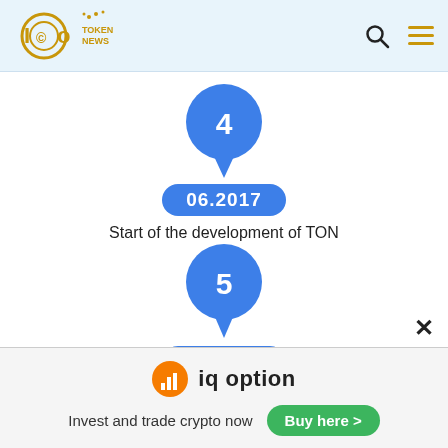ICO Token News — header with logo, search icon, and menu icon
[Figure (infographic): Timeline step 4: A blue teardrop/speech-bubble shape with the number 4, followed by a blue pill date label '06.2017', and text 'Start of the development of TON']
[Figure (infographic): Timeline step 5: A blue circle with speech bubble tail containing the number 5, followed by a blue pill date label '01.2018', and text 'Launch of Telegram External Secure ID']
Launch of Telegram External Secure ID
[Figure (infographic): IQ Option advertisement banner: orange circle logo with bar chart icon, 'iq option' text, 'Invest and trade crypto now' with green 'Buy here >' button]